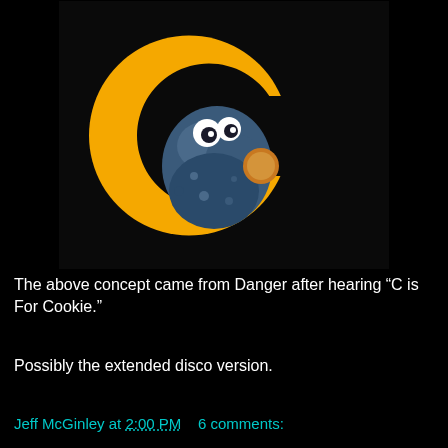[Figure (photo): A dark background image showing a large orange letter C with Cookie Monster (a blue furry muppet with white eyes) positioned inside/in front of the C, appearing to eat a cookie.]
The above concept came from Danger after hearing “C is For Cookie.”
Possibly the extended disco version.
Jeff McGinley at 2:00 PM    6 comments: